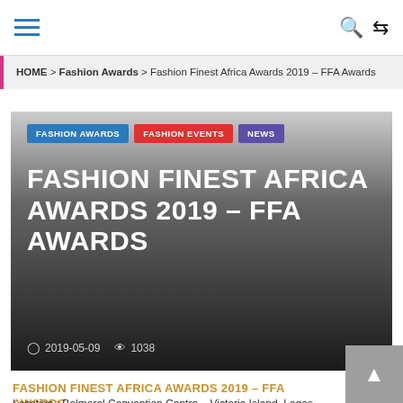Navigation bar with hamburger menu, search and shuffle icons
HOME > Fashion Awards > Fashion Finest Africa Awards 2019 – FFA Awards
[Figure (screenshot): Hero banner with dark gradient background showing tags FASHION AWARDS, FASHION EVENTS, NEWS and large white title FASHION FINEST AFRICA AWARDS 2019 – FFA AWARDS with date 2019-05-09 and view count 1038]
FASHION FINEST AFRICA AWARDS 2019 – FFA AWARDS
Location : Balmoral Convention Centre – Victoria Island, Lagos